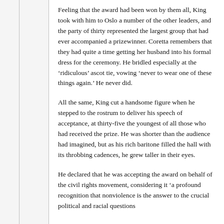Feeling that the award had been won by them all, King took with him to Oslo a number of the other leaders, and the party of thirty represented the largest group that had ever accompanied a prizewinner. Coretta remembers that they had quite a time getting her husband into his formal dress for the ceremony. He bridled especially at the ‘ridiculous’ ascot tie, vowing ‘never to wear one of these things again.’ He never did.
All the same, King cut a handsome figure when he stepped to the rostrum to deliver his speech of acceptance, at thirty-five the youngest of all those who had received the prize. He was shorter than the audience had imagined, but as his rich baritone filled the hall with its throbbing cadences, he grew taller in their eyes.
He declared that he was accepting the award on behalf of the civil rights movement, considering it ‘a profound recognition that nonviolence is the answer to the crucial political and racial questions